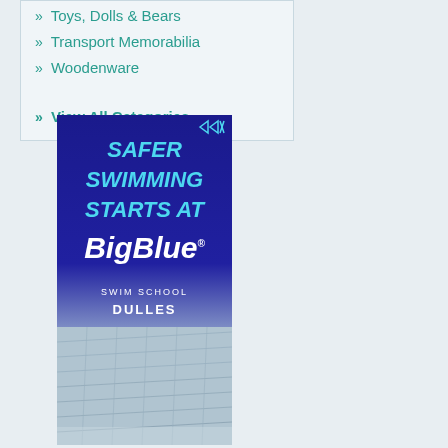» Toys, Dolls & Bears
» Transport Memorabilia
» Woodenware
» View All Categories ...
[Figure (photo): Advertisement for BigBlue Swim School - Dulles. Dark blue background with text 'SAFER SWIMMING STARTS AT' in teal/cyan, followed by BigBlue Swim School logo in white, DULLES in white, and a photo of a swimming pool facility at the bottom.]